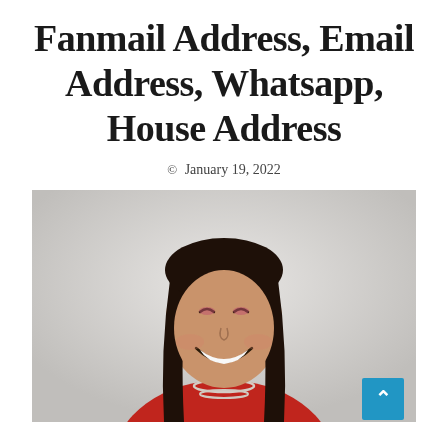Fanmail Address, Email Address, Whatsapp, House Address
© January 19, 2022
[Figure (photo): A smiling young woman with long dark straight hair, wearing a red top and silver layered necklaces, photographed against a light grey background.]